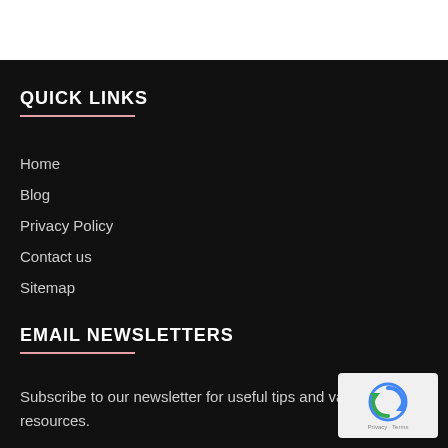QUICK LINKS
Home
Blog
Privacy Policy
Contact us
Sitemap
EMAIL NEWSLETTERS
Subscribe to our newsletter for useful tips and valuable resources.
[Figure (other): reCAPTCHA badge with circular arrow logo and Privacy - Terms text]